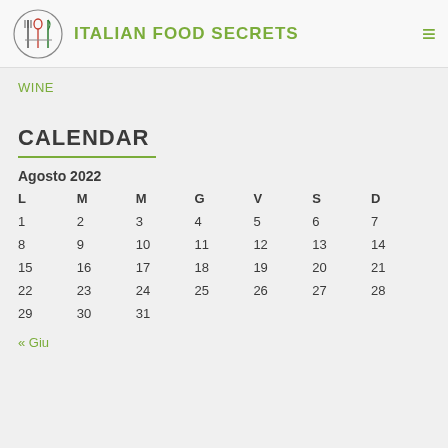ITALIAN FOOD SECRETS
WINE
CALENDAR
| L | M | M | G | V | S | D |
| --- | --- | --- | --- | --- | --- | --- |
| 1 | 2 | 3 | 4 | 5 | 6 | 7 |
| 8 | 9 | 10 | 11 | 12 | 13 | 14 |
| 15 | 16 | 17 | 18 | 19 | 20 | 21 |
| 22 | 23 | 24 | 25 | 26 | 27 | 28 |
| 29 | 30 | 31 |  |  |  |  |
« Giu